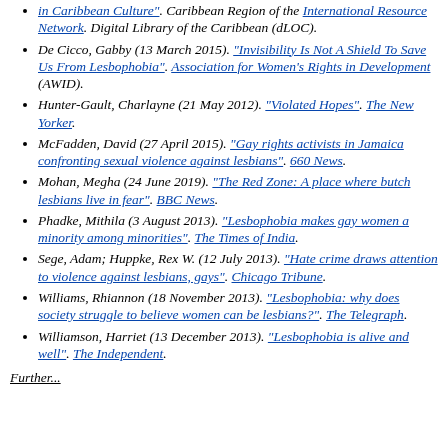in Caribbean Culture". Caribbean Region of the International Resource Network. Digital Library of the Caribbean (dLOC).
De Cicco, Gabby (13 March 2015). "Invisibility Is Not A Shield To Save Us From Lesbophobia". Association for Women's Rights in Development (AWID).
Hunter-Gault, Charlayne (21 May 2012). "Violated Hopes". The New Yorker.
McFadden, David (27 April 2015). "Gay rights activists in Jamaica confronting sexual violence against lesbians". 660 News.
Mohan, Megha (24 June 2019). "The Red Zone: A place where butch lesbians live in fear". BBC News.
Phadke, Mithila (3 August 2013). "Lesbophobia makes gay women a minority among minorities". The Times of India.
Sege, Adam; Huppke, Rex W. (12 July 2013). "Hate crime draws attention to violence against lesbians, gays". Chicago Tribune.
Williams, Rhiannon (18 November 2013). "Lesbophobia: why does society struggle to believe women can be lesbians?". The Telegraph.
Williamson, Harriet (13 December 2013). "Lesbophobia is alive and well". The Independent.
Further...